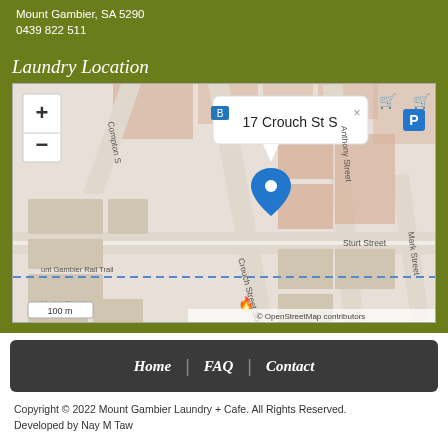Mount Gambier, SA 5290
0439 822 511
Laundry Location
[Figure (map): OpenStreetMap showing 17 Crouch St S, Mount Gambier with a blue pin marker. Streets visible include Crouch Street South, Sturt Street, Anthony Street, Mark Street, Heriot Street, and Mount Gambier Rail Trail. Scale bar shows 100 m. Popup tooltip reads '17 Crouch St S'. Map has +/- zoom controls.]
Home | FAQ | Contact
Copyright © 2022 Mount Gambier Laundry + Cafe. All Rights Reserved. Developed by Nay M Taw